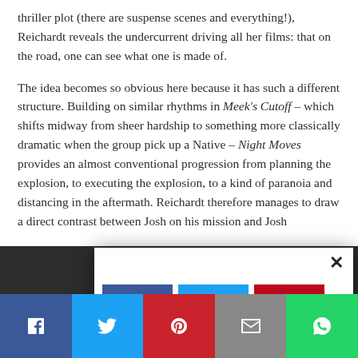thriller plot (there are suspense scenes and everything!), Reichardt reveals the undercurrent driving all her films: that on the road, one can see what one is made of.

The idea becomes so obvious here because it has such a different structure. Building on similar rhythms in Meek's Cutoff – which shifts midway from sheer hardship to something more classically dramatic when the group pick up a Native – Night Moves provides an almost conventional progression from planning the explosion, to executing the explosion, to a kind of paranoia and distancing in the aftermath. Reichardt therefore manages to draw a direct contrast between Josh on his mission and Josh
[Figure (other): Social sharing popup overlay with Facebook (blue), Twitter (cyan), Pinterest (red) buttons and partial gray and green buttons below, plus a close X button]
[Figure (other): Bottom fixed social sharing bar with Facebook, Twitter, Pinterest, Email (envelope), and WhatsApp icons in colored blocks spanning full width]